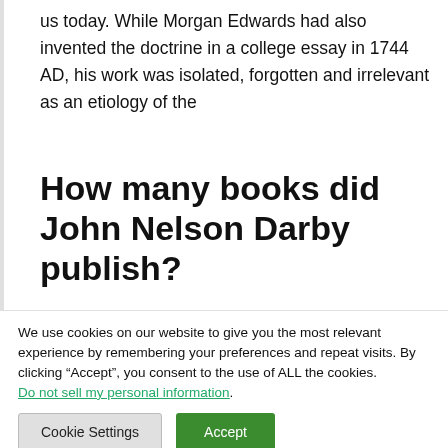us today. While Morgan Edwards had also invented the doctrine in a college essay in 1744 AD, his work was isolated, forgotten and irrelevant as an etiology of the
How many books did John Nelson Darby publish?
We use cookies on our website to give you the most relevant experience by remembering your preferences and repeat visits. By clicking “Accept”, you consent to the use of ALL the cookies.
Do not sell my personal information.